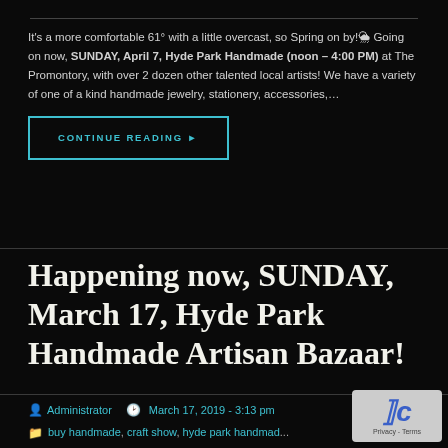It's a more comfortable 61° with a little overcast, so Spring on by!🌦 Going on now, SUNDAY, April 7, Hyde Park Handmade (noon – 4:00 PM) at The Promontory, with over 2 dozen other talented local artists! We have a variety of one of a kind handmade jewelry, stationery, accessories,…
CONTINUE READING ▶
Happening now, SUNDAY, March 17, Hyde Park Handmade Artisan Bazaar!
Administrator   March 17, 2019 - 3:13 pm
buy handmade, craft show, hyde park handmade artisan bazaar, shop local
accessories, buy handmade, chicago, hairclips...